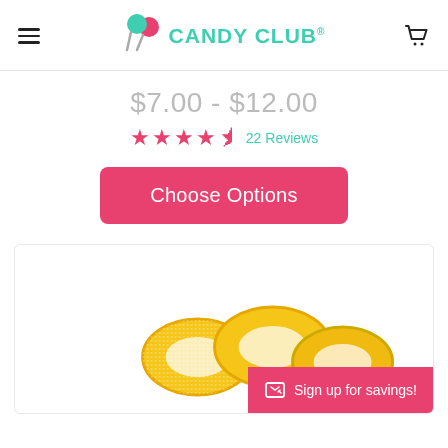CANDY CLUB
$7.00 - $12.00
★★★★½ 22 Reviews
Choose Options
[Figure (photo): Yellow sour candy rings (gummy chain links) on a white background with a pink 'Sign up for savings!' bar in the bottom right corner]